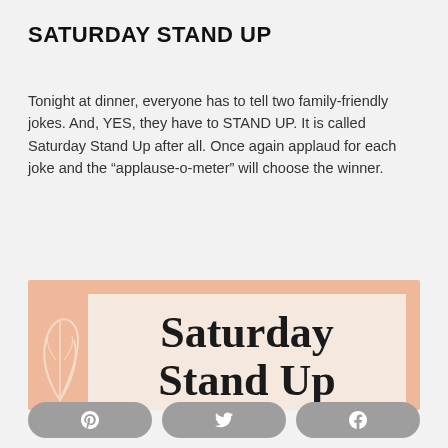SATURDAY STAND UP
Tonight at dinner, everyone has to tell two family-friendly jokes. And, YES, they have to STAND UP. It is called Saturday Stand Up after all. Once again applaud for each joke and the “applause-o-meter” will choose the winner.
[Figure (illustration): Decorative card with peach/salmon background and a lighter inner panel showing the text 'Saturday Stand Up' in large serif font, with a leaf illustration on the left side.]
Pinterest share button, Twitter share button, Facebook share button